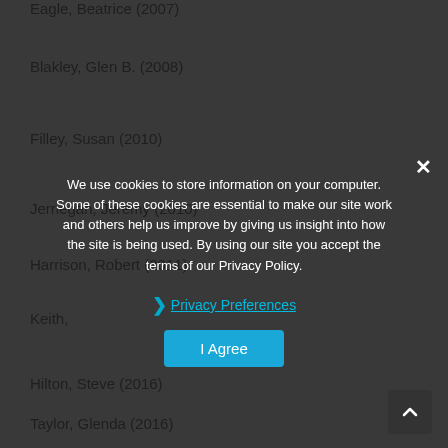Eagle, Beatrice (2007)
Blakley, Glen B. (2008)
Filley, Susan (2010)
Jernegan, Jeremy (2010)
Harrison, Robert (2011)
Keith, ...
Hilton, Steve (2016)
Taylor, Glenda (2016)
We use cookies to store information on your computer. Some of these cookies are essential to make our site work and others help us improve by giving us insight into how the site is being used. By using our site you accept the terms of our Privacy Policy.
Privacy Preferences
I Agree